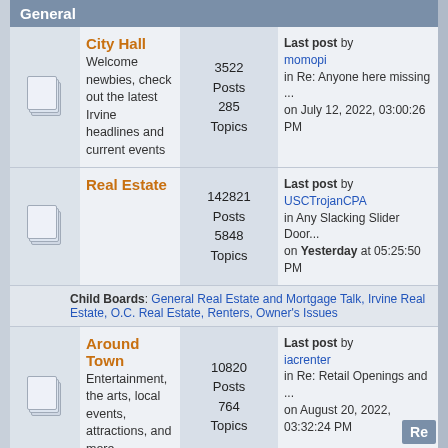General
| Icon | Forum | Stats | Last Post |
| --- | --- | --- | --- |
| [icon] | City Hall
Welcome newbies, check out the latest Irvine headlines and current events | 3522 Posts 285 Topics | Last post by momopi in Re: Anyone here missing ... on July 12, 2022, 03:00:26 PM |
| [icon] | Real Estate | 142821 Posts 5848 Topics | Last post by USCTrojanCPA in Any Slacking Slider Door... on Yesterday at 05:25:50 PM |
| [child] | Child Boards: General Real Estate and Mortgage Talk, Irvine Real Estate, O.C. Real Estate, Renters, Owner's Issues |  |  |
| [icon] | Around Town
Entertainment, the arts, local events, attractions, and more | 10820 Posts 764 Topics | Last post by iacrenter in Re: Retail Openings and ... on August 20, 2022, 03:32:24 PM |
| [icon] | Food and Dining | 10224 Posts 1032 Topics | Last post by kylana in Re: The Rice (Foothill R... on August 18, 2022, 06:18:43 PM |